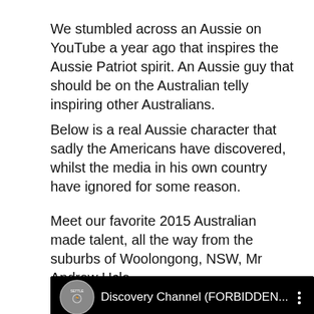We stumbled across an Aussie on YouTube a year ago that inspires the Aussie Patriot spirit. An Aussie guy that should be on the Australian telly inspiring other Australians.
Below is a real Aussie character that sadly the Americans have discovered, whilst the media in his own country have ignored for some reason.
Meet our favorite 2015 Australian made talent, all the way from the suburbs of Woolongong, NSW, Mr Andrew Ucle.
[Figure (screenshot): YouTube video thumbnail showing a Discovery Channel video titled 'Discovery Channel (FORBIDDEN...' with a channel logo and a three-dot menu icon. Below the title bar is a dark video frame showing a large letter D and some grass/plant imagery.]